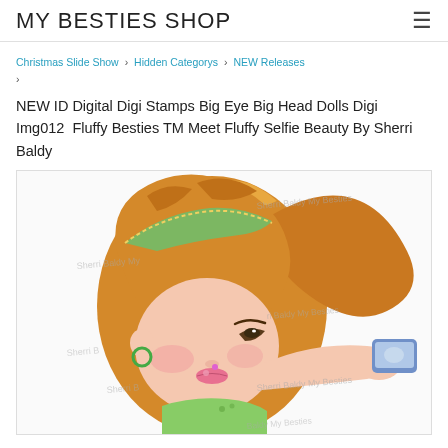MY BESTIES SHOP
Christmas Slide Show › Hidden Categorys › NEW Releases ›
NEW ID Digital Digi Stamps Big Eye Big Head Dolls Digi Img012  Fluffy Besties TM Meet Fluffy Selfie Beauty By Sherri Baldy
[Figure (illustration): Digital digi stamp illustration of a big-eye big-head girl doll with orange/auburn hair in a ponytail with a colorful headband, taking a selfie with a phone. She has rosy cheeks, a pink lip, and green earring. Multiple watermark texts 'Sherri Baldy My Besties' are overlaid on the image.]